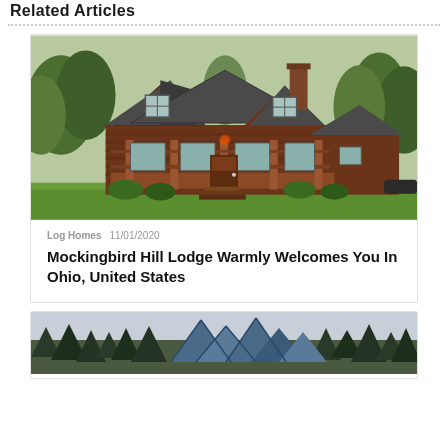Related Articles
[Figure (photo): Log cabin / lodge building with brown wooden exterior, covered front porch, steep gabled roof, surrounded by green trees and lawn]
Log Homes  11/01/2020
Mockingbird Hill Lodge Warmly Welcomes You In Ohio, United States
[Figure (photo): Modern house with blue/grey angular roof peaks visible above treeline, partial view at bottom of page]